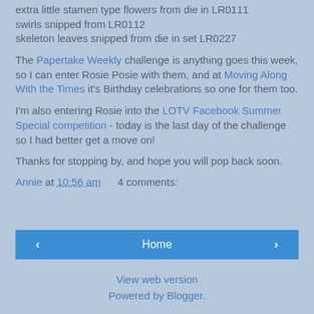extra little stamen type flowers from die in LR0111 swirls snipped from LR0112 skeleton leaves snipped from die in set LR0227
The Papertake Weekly challenge is anything goes this week, so I can enter Rosie Posie with them, and at Moving Along With the Times it's Birthday celebrations so one for them too.
I'm also entering Rosie into the LOTV Facebook Summer Special competition - today is the last day of the challenge so I had better get a move on!
Thanks for stopping by, and hope you will pop back soon.
Annie at 10:56 am    4 comments:
‹   Home   ›
View web version
Powered by Blogger.